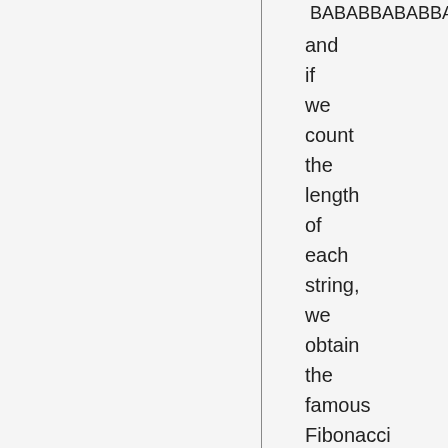BABABBABABBA
and if we count the length of each string, we obtain the famous Fibonacci